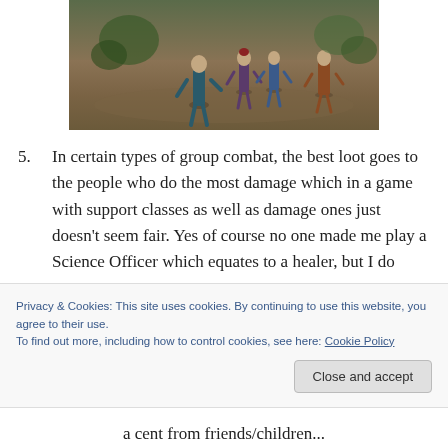[Figure (screenshot): Screenshot of group combat in a sci-fi/fantasy video game showing several characters standing on a dirt ground area]
5. In certain types of group combat, the best loot goes to the people who do the most damage which in a game with support classes as well as damage ones just doesn't seem fair. Yes of course no one made me play a Science Officer which equates to a healer, but I do
Privacy & Cookies: This site uses cookies. By continuing to use this website, you agree to their use.
To find out more, including how to control cookies, see here: Cookie Policy
Close and accept
a cent from friends/children...